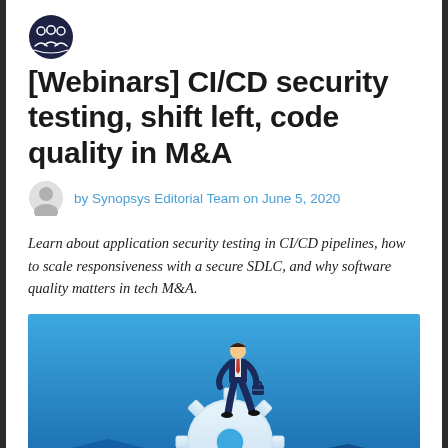[Figure (logo): Synopsys logo mark — circular icon with three stylized human figures/heads in dark navy circle]
[Webinars] CI/CD security testing, shift left, code quality in M&A
by Synopsys Editorial Team on June 5, 2020
Learn about application security testing in CI/CD pipelines, how to scale responsiveness with a secure SDLC, and why software quality matters in tech M&A.
[Figure (illustration): Illustration of a businessman in suit walking confidently on a large white gear/cog, carrying a briefcase, against a blue gradient background with abstract arrow shapes at the bottom]